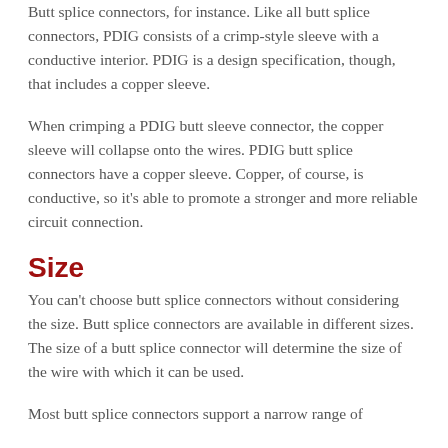Butt splice connectors, for instance. Like all butt splice connectors, PDIG consists of a crimp-style sleeve with a conductive interior. PDIG is a design specification, though, that includes a copper sleeve.
When crimping a PDIG butt sleeve connector, the copper sleeve will collapse onto the wires. PDIG butt splice connectors have a copper sleeve. Copper, of course, is conductive, so it's able to promote a stronger and more reliable circuit connection.
Size
You can't choose butt splice connectors without considering the size. Butt splice connectors are available in different sizes. The size of a butt splice connector will determine the size of the wire with which it can be used.
Most butt splice connectors support a narrow range of